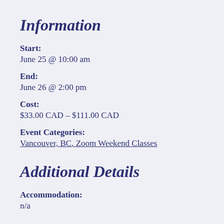Information
Start:
June 25 @ 10:00 am
End:
June 26 @ 2:00 pm
Cost:
$33.00 CAD – $111.00 CAD
Event Categories:
Vancouver, BC, Zoom Weekend Classes
Additional Details
Accommodation:
n/a